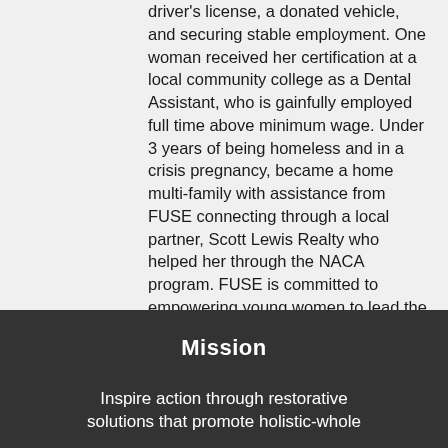driver's license, a donated vehicle, and securing stable employment. One woman received her certification at a local community college as a Dental Assistant, who is gainfully employed full time above minimum wage. Under 3 years of being homeless and in a crisis pregnancy, became a home multi-family with assistance from FUSE connecting through a local partner, Scott Lewis Realty who helped her through the NACA program. FUSE is committed to empowering young women to lead the way for their own success and committed to forging collaborative networks that can assist in successful outcomes for these vulnerable women.
Mission
Inspire action through restorative solutions that promote holistic-whole